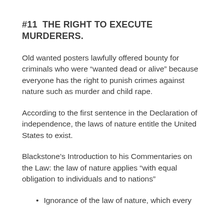#11  THE RIGHT TO EXECUTE MURDERERS.
Old wanted posters lawfully offered bounty for criminals who were “wanted dead or alive” because everyone has the right to punish crimes against nature such as murder and child rape.
According to the first sentence in the Declaration of independence, the laws of nature entitle the United States to exist.
Blackstone’s Introduction to his Commentaries on the Law: the law of nature applies “with equal obligation to individuals and to nations”
Ignorance of the law of nature, which every